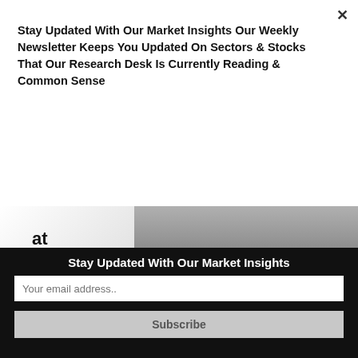Stay Updated With Our Market Insights Our Weekly Newsletter Keeps You Updated On Sectors & Stocks That Our Research Desk Is Currently Reading & Common Sense
Subscribe
[Figure (screenshot): YouTube video thumbnail showing Google logo, a briefcase icon, and a person in a suit speaking at an event. A YouTube play button is overlaid in the center-right area.]
Stay Updated With Our Market Insights
Your email address..
Subscribe